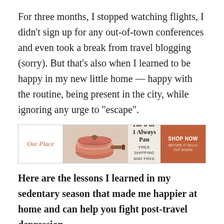For three months, I stopped watching flights, I didn't sign up for any out-of-town conferences and even took a break from travel blogging (sorry). But that's also when I learned to be happy in my new little home — happy with the routine, being present in the city, while ignoring any urge to "escape".
[Figure (infographic): Our Place advertisement banner for The 8-in-1 Always Pan. Left section shows 'Our Place' in orange italic text. Center shows a pink/terracotta cookware pan with wooden handle on a beige background. Text reads 'The 8-in-1 Always Pan FREE SHIPPING AND FREE RETURNS'. Right section is an orange/terracotta button with 'SHOP NOW BEFORE IT SELLS OUT AGAIN!']
Here are the lessons I learned in my sedentary season that made me happier at home and can help you fight post-travel depression.
1. Make your home a haven